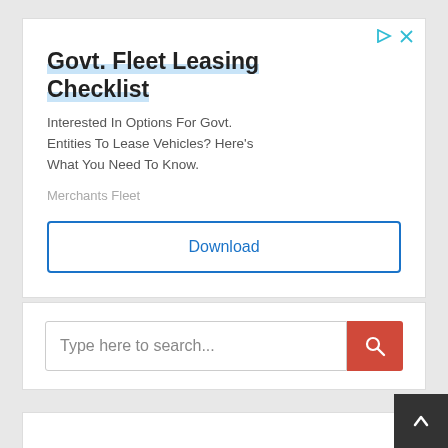[Figure (screenshot): Advertisement card for 'Govt. Fleet Leasing Checklist' by Merchants Fleet with a Download button, ad icons (play triangle and X), title text, body text, source name, and download button]
Govt. Fleet Leasing Checklist
Interested In Options For Govt. Entities To Lease Vehicles? Here's What You Need To Know.
Merchants Fleet
Download
[Figure (screenshot): Search bar widget with placeholder text 'Type here to search...' and a red search button with magnifying glass icon]
Type here to search...